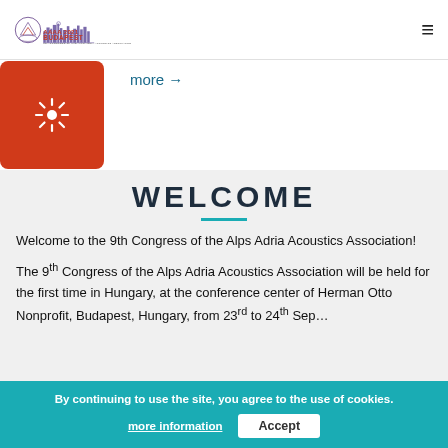AAAA 2021 BUDAPEST — 9th Congress of the Alps Adria Acoustics Association
more →
WELCOME
Welcome to the 9th Congress of the Alps Adria Acoustics Association!
The 9th Congress of the Alps Adria Acoustics Association will be held for the first time in Hungary, at the conference center of Herman Otto Nonprofit, Budapest, Hungary, from 23rd to 24th September.
By continuing to use the site, you agree to the use of cookies. more information   Accept